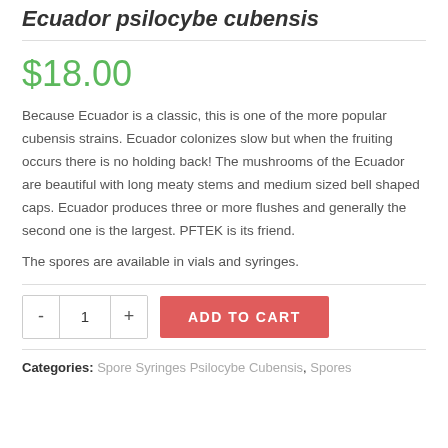Ecuador psilocybe cubensis
$18.00
Because Ecuador is a classic, this is one of the more popular cubensis strains. Ecuador colonizes slow but when the fruiting occurs there is no holding back! The mushrooms of the Ecuador are beautiful with long meaty stems and medium sized bell shaped caps. Ecuador produces three or more flushes and generally the second one is the largest. PFTEK is its friend.
The spores are available in vials and syringes.
Categories: Spore Syringes Psilocybe Cubensis, Spores